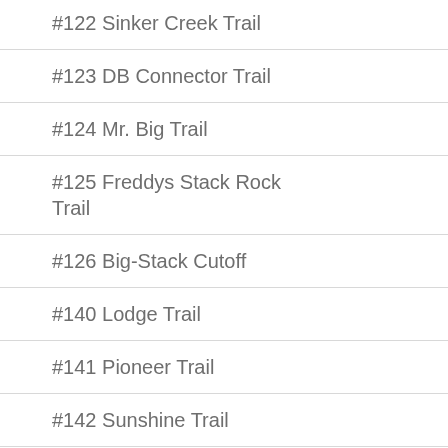#122 Sinker Creek Trail
#123 DB Connector Trail
#124 Mr. Big Trail
#125 Freddys Stack Rock Trail
#126 Big-Stack Cutoff
#140 Lodge Trail
#141 Pioneer Trail
#142 Sunshine Trail
#143 Bogus Creek Trail
#144 Cabin Traverse Trail